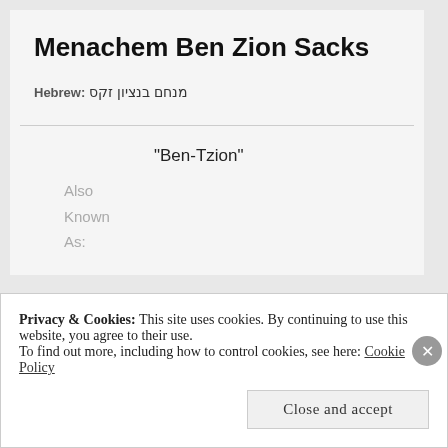Menachem Ben Zion Sacks
Hebrew: מנחם בנציון זקס
“Ben-Tzion”
Also Known As:
Privacy & Cookies: This site uses cookies. By continuing to use this website, you agree to their use. To find out more, including how to control cookies, see here: Cookie Policy
Close and accept